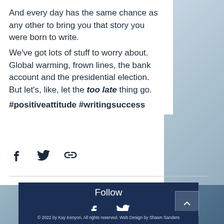And every day has the same chance as any other to bring you that story you were born to write.
We've got lots of stuff to worry about. Global warming, frown lines, the bank account and the presidential election. But let's, like, let the too late thing go.
#positiveattitude #writingsuccess
[Figure (other): Social share icons: Facebook (f), Twitter (bird), and link/chain icon]
[Figure (other): Footer section with dark navy background containing 'Follow' heading, Facebook and Twitter icons, back-to-top arrow button, and copyright text: © 2022 by Kay Kenyon. All rights reserved. Web Design by Shawn Sanders]
© 2022 by Kay Kenyon. All rights reserved. Web Design by Shawn Sanders